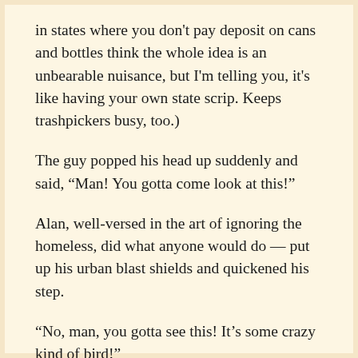in states where you don't pay deposit on cans and bottles think the whole idea is an unbearable nuisance, but I'm telling you, it's like having your own state scrip. Keeps trashpickers busy, too.)
The guy popped his head up suddenly and said, “Man! You gotta come look at this!”
Alan, well-versed in the art of ignoring the homeless, did what anyone would do — put up his urban blast shields and quickened his step.
“No, man, you gotta see this! It’s some crazy kind of bird!”